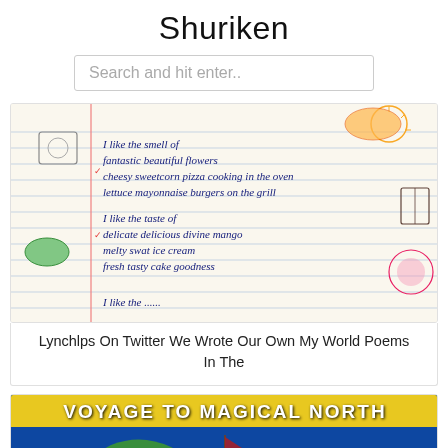Shuriken
Search and hit enter..
[Figure (photo): Handwritten poem on lined paper with children's drawings. Text reads: 'I like the smell of / fantastic beautiful flowers / cheesy sweetcorn pizza cooking in the oven / lettuce mayonnaise burgers on the grill // I like the taste of / delicate delicious divine mango / melty swat ice cream / fresh tasty cake goodness']
Lynchlps On Twitter We Wrote Our Own My World Poems In The
[Figure (photo): Partial view of a book cover with text 'VOYAGE TO MAGICAL NORTH' on a yellow banner, with a green dragon and blue ocean background illustration.]